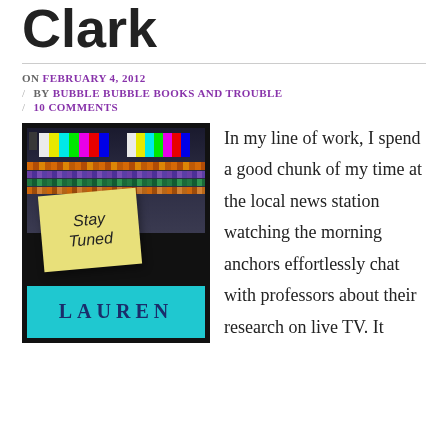Clark
ON FEBRUARY 4, 2012
BY BUBBLE BUBBLE BOOKS AND TROUBLE
10 COMMENTS
[Figure (photo): Book cover of 'Stay Tuned' by Lauren Clark, showing a TV broadcast mixing board with color bars and a yellow post-it note reading 'Stay Tuned', with the author name 'LAUREN' visible at the bottom on a teal background.]
In my line of work, I spend a good chunk of my time at the local news station watching the morning anchors effortlessly chat with professors about their research on live TV. It